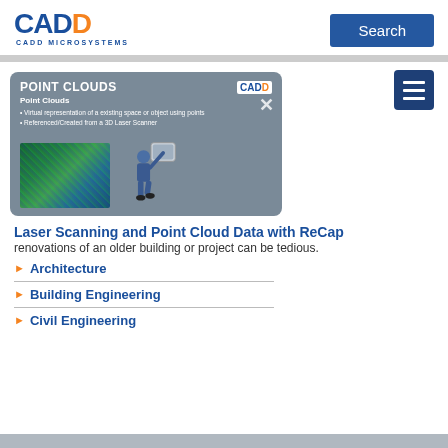[Figure (logo): CADD Microsystems logo in blue and orange]
Search
[Figure (screenshot): Point Clouds educational card with title POINT CLOUDS, subtitle Point Clouds, bullet points about virtual representation and 3D Laser Scanner, showing a point cloud image and a person using a laser scanner, with CADD logo and close X button]
Laser Scanning and Point Cloud Data with ReCap
renovations of an older building or project can be tedious.
Architecture
Building Engineering
Civil Engineering